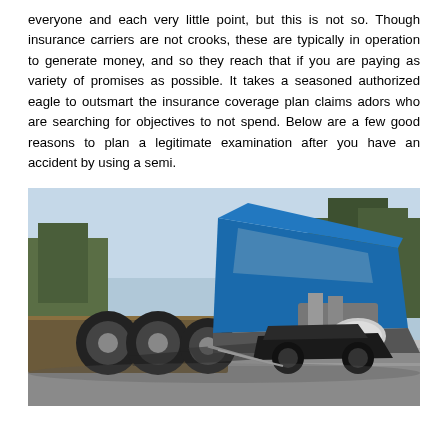everyone and each very little point, but this is not so. Though insurance carriers are not crooks, these are typically in operation to generate money, and so they reach that if you are paying as variety of promises as possible. It takes a seasoned authorized eagle to outsmart the insurance coverage plan claims adors who are searching for objectives to not spend. Below are a few good reasons to plan a legitimate examination after you have an accident by using a semi.
[Figure (photo): A semi-truck involved in a serious accident, tipped over on its side on a road. The blue cab is overturned with wheels in the air and another vehicle visible underneath. Trees visible in the background.]